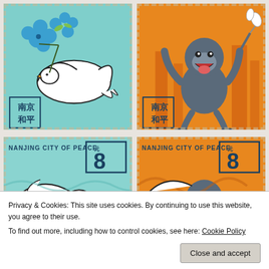[Figure (illustration): Two postage stamps from Nanjing City of Peace. Left stamp: teal/mint background with blue flower and white dove illustration, Chinese characters 南京和平 in bottom left corner. Right stamp: orange background with gray monkey/lion dance figure holding branch, Chinese characters 南京和平 in bottom left corner.]
[Figure (illustration): Two partially visible postage stamps (bottom row top). Left stamp: teal background, text NANJING CITY OF PEACE, denomination 8 元, partial illustration of dove/bird. Right stamp: orange background, text NANJING CITY OF PEACE, denomination 8 元, partial illustration of monkey figure.]
Privacy & Cookies: This site uses cookies. By continuing to use this website, you agree to their use.
To find out more, including how to control cookies, see here: Cookie Policy
[Figure (illustration): Two partially visible postage stamps (bottom row). Left stamp: teal background with Chinese characters 南京和平, partial blue floral/dove illustration. Right stamp: orange background with Chinese characters 南京和平, partial orange figure illustration.]